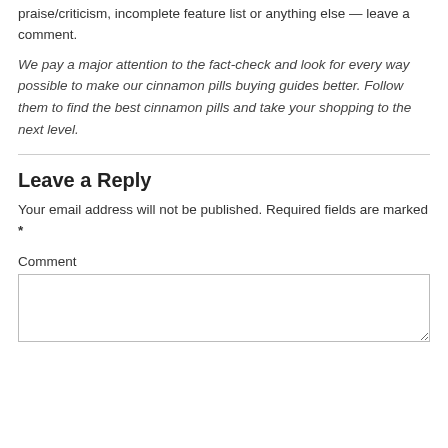praise/criticism, incomplete feature list or anything else — leave a comment.
We pay a major attention to the fact-check and look for every way possible to make our cinnamon pills buying guides better. Follow them to find the best cinnamon pills and take your shopping to the next level.
Leave a Reply
Your email address will not be published. Required fields are marked *
Comment